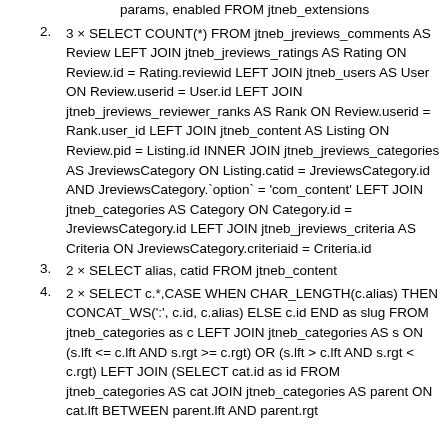params, enabled FROM jtneb_extensions
2. 3 × SELECT COUNT(*) FROM jtneb_jreviews_comments AS Review LEFT JOIN jtneb_jreviews_ratings AS Rating ON Review.id = Rating.reviewid LEFT JOIN jtneb_users AS User ON Review.userid = User.id LEFT JOIN jtneb_jreviews_reviewer_ranks AS Rank ON Review.userid = Rank.user_id LEFT JOIN jtneb_content AS Listing ON Review.pid = Listing.id INNER JOIN jtneb_jreviews_categories AS JreviewsCategory ON Listing.catid = JreviewsCategory.id AND JreviewsCategory.`option` = 'com_content' LEFT JOIN jtneb_categories AS Category ON Category.id = JreviewsCategory.id LEFT JOIN jtneb_jreviews_criteria AS Criteria ON JreviewsCategory.criteriaid = Criteria.id
3. 2 × SELECT alias, catid FROM jtneb_content
4. 2 × SELECT c.*,CASE WHEN CHAR_LENGTH(c.alias) THEN CONCAT_WS(':', c.id, c.alias) ELSE c.id END as slug FROM jtneb_categories as c LEFT JOIN jtneb_categories AS s ON (s.lft <= c.lft AND s.rgt >= c.rgt) OR (s.lft > c.lft AND s.rgt < c.rgt) LEFT JOIN (SELECT cat.id as id FROM jtneb_categories AS cat JOIN jtneb_categories AS parent ON cat.lft BETWEEN parent.lft AND parent.rgt